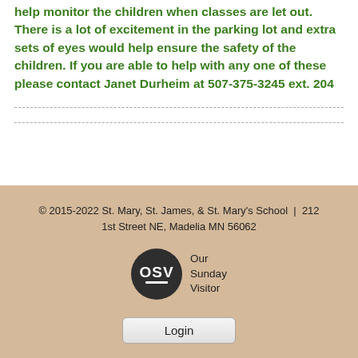help monitor the children when classes are let out. There is a lot of excitement in the parking lot and extra sets of eyes would help ensure the safety of the children. If you are able to help with any one of these please contact Janet Durheim at 507-375-3245 ext. 204
© 2015-2022 St. Mary, St. James, & St. Mary's School | 212 1st Street NE, Madelia MN 56062
[Figure (logo): Our Sunday Visitor (OSV) logo — dark circle with OSV text in white and underline, next to 'Our Sunday Visitor' text]